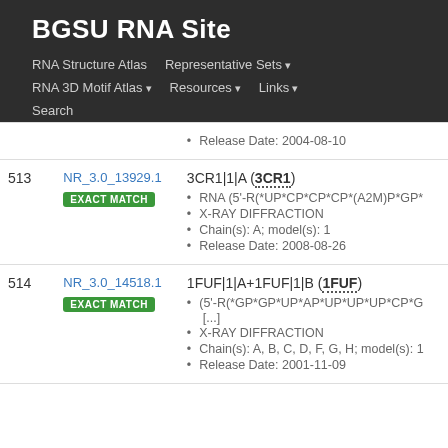BGSU RNA Site
RNA Structure Atlas | Representative Sets ▾ | RNA 3D Motif Atlas ▾ | Resources ▾ | Links ▾ | Search
| # | ID | Details |
| --- | --- | --- |
|  |  | Release Date: 2004-08-10 |
| 513 | NR_3.0_13929.1 EXACT MATCH | 3CR1|1|A (3CR1)
RNA (5'-R(*UP*CP*CP*CP*(A2M)P*GP*...
X-RAY DIFFRACTION
Chain(s): A; model(s): 1
Release Date: 2008-08-26 |
| 514 | NR_3.0_14518.1 EXACT MATCH | 1FUF|1|A+1FUF|1|B (1FUF)
(5'-R(*GP*GP*UP*AP*UP*UP*UP*CP*G...
[...]
X-RAY DIFFRACTION
Chain(s): A, B, C, D, F, G, H; model(s): 1
Release Date: 2001-11-09 |